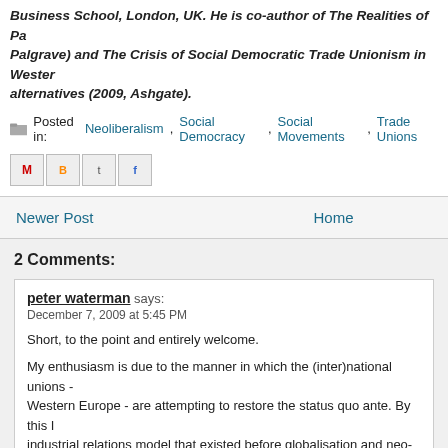Business School, London, UK. He is co-author of The Realities of Pa (Palgrave) and The Crisis of Social Democratic Trade Unionism in Wester alternatives (2009, Ashgate).
Posted in: Neoliberalism,Social Democracy,Social Movements,Trade Unions
[Figure (other): Social share icons: Gmail (M), Blogger (B), Twitter (t), Facebook (f)]
Newer Post
Home
2 Comments:
peter waterman says: December 7, 2009 at 5:45 PM

Short, to the point and entirely welcome.

My enthusiasm is due to the manner in which the (inter)national unions - Western Europe - are attempting to restore the status quo ante. By this I industrial relations model that existed before globalisation and neo-libera

Do I, however, pick up a suggestion that the future lies in a new relations unions and (new) left political parties? If so, I would see this is as an atte model for which, as Martin otherwise details, the conditions no longer exi